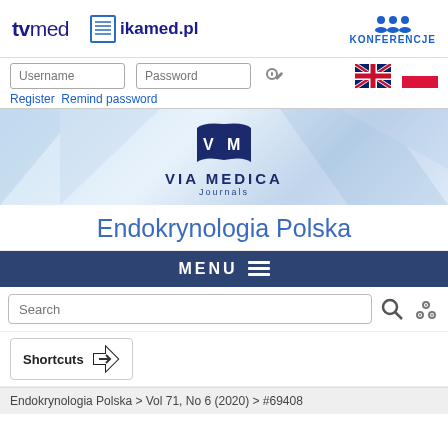[Figure (screenshot): Website header with tvmed logo, ikamed.pl logo, and KONFERENCJE icon]
[Figure (screenshot): Login bar with Username and Password fields, key icon, UK flag, Polish flag, and Register/Remind password links]
[Figure (logo): Via Medica Journals logo with book icon]
Endokrynologia Polska
[Figure (screenshot): MENU button bar]
[Figure (screenshot): Search bar with search input, magnifier icon, and settings icon]
[Figure (screenshot): Shortcuts box with arrow icon]
Endokrynologia Polska > Vol 71, No 6 (2020) > #69408